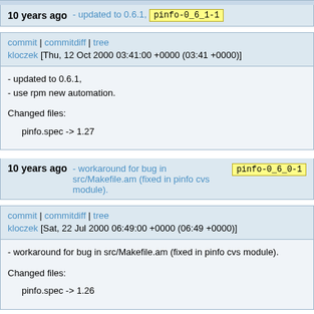10 years ago - updated to 0.6.1. pinfo-0_6_1-1
commit | commitdiff | tree
kloczek [Thu, 12 Oct 2000 03:41:00 +0000 (03:41 +0000)]
- updated to 0.6.1,
- use rpm new automation.

Changed files:
    pinfo.spec -> 1.27
10 years ago - workaround for bug in src/Makefile.am (fixed in pinfo cvs module). pinfo-0_6_0-1
commit | commitdiff | tree
kloczek [Sat, 22 Jul 2000 06:49:00 +0000 (06:49 +0000)]
- workaround for bug in src/Makefile.am (fixed in pinfo cvs module).

Changed files:
    pinfo.spec -> 1.26